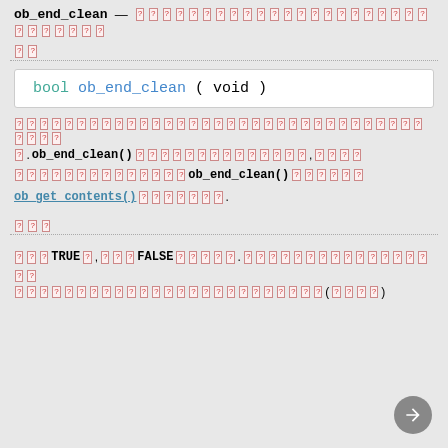ob_end_clean — [unknown characters]
[unknown characters]
bool ob_end_clean ( void )
[unknown characters] ob_end_clean() [unknown characters], [unknown characters] ob_end_clean() [unknown characters] ob_get_contents() [unknown characters].
[unknown characters]
[unknown characters] TRUE [unknown characters] FALSE [unknown characters]. [unknown characters]